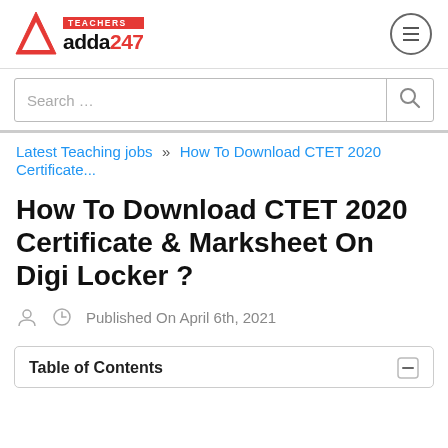Teachers Adda247
Search …
Latest Teaching jobs » How To Download CTET 2020 Certificate...
How To Download CTET 2020 Certificate & Marksheet On Digi Locker ?
Published On April 6th, 2021
Table of Contents